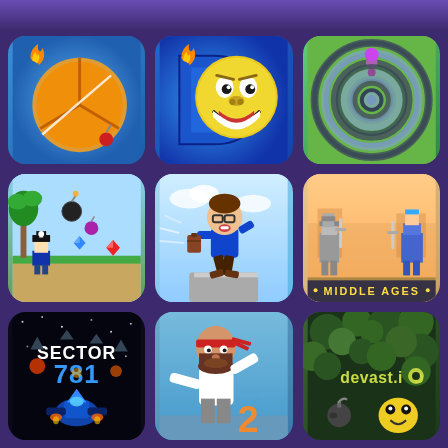[Figure (screenshot): Mobile game app grid showing 9 game icons in a 3x3 layout on a dark purple background. Row 1: fruit-cutting pizza/orange game with fire icon, Troll Face Quest game with yellow troll face, spiral maze game. Row 2: pixel pirate adventure game with bombs and gems, running man parkour game, Middle Ages pixel battle game. Row 3: Sector 781 space shooter game, runner game with man in red headband showing number 2, Devast.io survival game with green foliage logo.]
Sector 781
MIDDLE AGES
devast.io